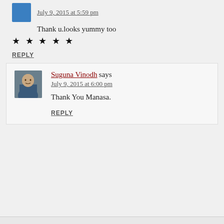July 9, 2015 at 5:59 pm
Thank u.looks yummy too
★ ★ ★ ★ ★
REPLY
Suguna Vinodh says
July 9, 2015 at 6:00 pm
Thank You Manasa.
REPLY